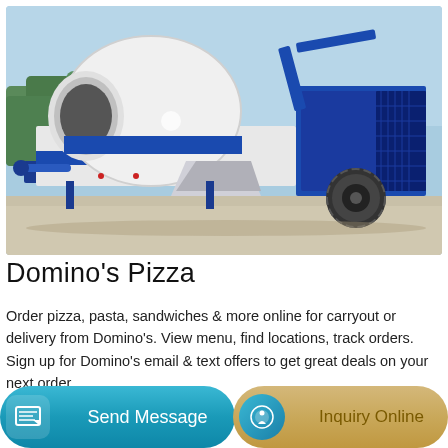[Figure (photo): A blue and white concrete mixer pump truck / trailer-mounted concrete mixing machine photographed outdoors on a concrete surface with trees and blue sky in the background.]
Domino's Pizza
Order pizza, pasta, sandwiches & more online for carryout or delivery from Domino's. View menu, find locations, track orders. Sign up for Domino's email & text offers to get great deals on your next order.
Send Message
Inquiry Online